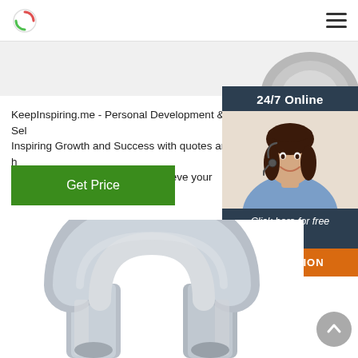[Figure (photo): Partial view of a galvanized metal shackle hardware component, top portion cropped]
KeepInspiring.me - Personal Development & Self Inspiring Growth and Success with quotes and help you succeed, grow, and achieve your goals.
[Figure (infographic): 24/7 Online chat widget with a smiling female customer service agent wearing a headset, dark blue background, with 'Click here for free chat!' text and an orange QUOTATION button]
Get Price
[Figure (photo): Close-up photo of a galvanized steel shackle hardware component, showing the U-shaped loop and pin area]
[Figure (other): Scroll-to-top arrow button, gray circle with upward chevron]